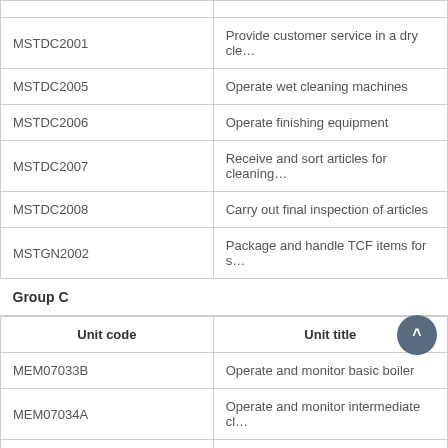| Unit code | Unit title |
| --- | --- |
| MSTDC2001 | Provide customer service in a dry cle… |
| MSTDC2005 | Operate wet cleaning machines |
| MSTDC2006 | Operate finishing equipment |
| MSTDC2007 | Receive and sort articles for cleaning… |
| MSTDC2008 | Carry out final inspection of articles |
| MSTGN2002 | Package and handle TCF items for s… |
| Group C |  |
| Unit code | Unit title |
| MEM07033B | Operate and monitor basic boiler |
| MEM07034A | Operate and monitor intermediate cl… |
| MSMBLIC001 | Licence to operate a standard boiler |